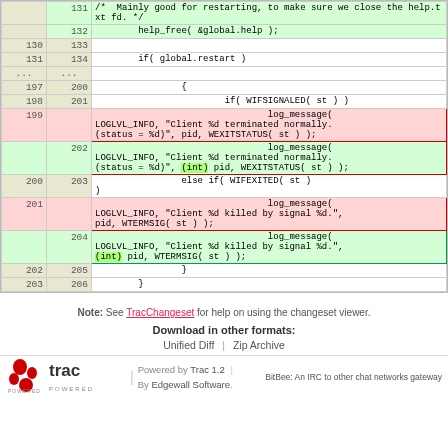| old | new | code |
| --- | --- | --- |
|  | 131 | /*  Mainly good for restarting, to make sure we close the help.txt fd. */ |
|  | 132 |         help_free( &global.help ); |
| 130 | 133 |  |
| 131 | 134 |         if( global.restart ) |
| ... | ... |  |
| 197 | 200 |                 { |
| 198 | 201 |                         if( WIFSIGNALED( st ) ) |
| 199 |  |                                 log_message(
LOGLVL_INFO, "Client %d terminated normally.
(status = %d)", pid, WEXITSTATUS( st ) ); |
|  | 202 |                                 log_message(
LOGLVL_INFO, "Client %d terminated normally.
(status = %d)", (int) pid, WEXITSTATUS( st ) ); |
| 200 | 203 |                 else if( WIFEXITED( st )
) |
| 201 |  |                                 log_message(
LOGLVL_INFO, "Client %d killed by signal %d.",
pid, WTERMSIG( st ) ); |
|  | 204 |                                 log_message(
LOGLVL_INFO, "Client %d killed by signal %d.",
(int) pid, WTERMSIG( st ) ); |
| 202 | 205 |                 } |
| 203 | 206 |         } |
Note: See TracChangeset for help on using the changeset viewer.
Download in other formats:
Unified Diff  |  Zip Archive
[Figure (logo): Trac powered logo with paw print]
Powered by Trac 1.2
By Edgewall Software.
BitBee: An IRC to other chat networks gateway